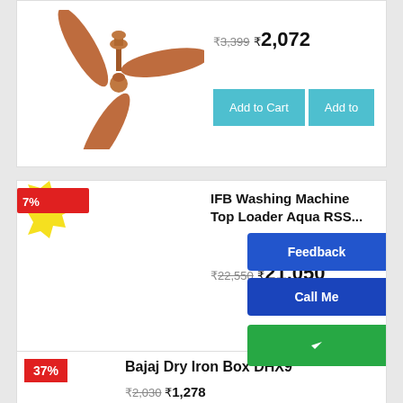[Figure (photo): Brown ceiling fan with three blades on white background]
₹3,399  ₹2,072
Add to Cart | Add to
[Figure (illustration): Yellow starburst discount badge]
IFB Washing Machine Top Loader Aqua RSS...
₹22,550  ₹21,050
Feedback
Call Me
Add to Cart | Add to
37%
Bajaj Dry Iron Box DHX9
₹2,030  ₹1,278